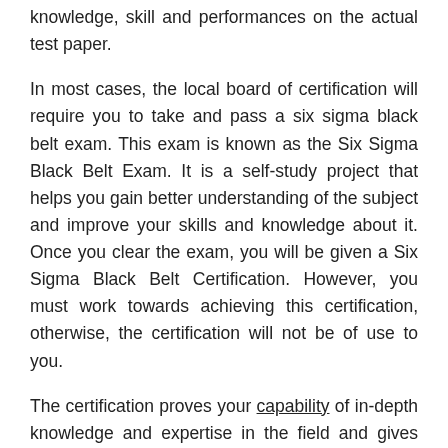knowledge, skill and performances on the actual test paper.
In most cases, the local board of certification will require you to take and pass a six sigma black belt exam. This exam is known as the Six Sigma Black Belt Exam. It is a self-study project that helps you gain better understanding of the subject and improve your skills and knowledge about it. Once you clear the exam, you will be given a Six Sigma Black Belt Certification. However, you must work towards achieving this certification, otherwise, the certification will not be of use to you.
The certification proves your capability of in-depth knowledge and expertise in the field and gives you a strong platform to work on. The six sigma certification test consists of two main parts, which include a written test and a hands-on practice test. To ensure a fair and even testing process, most of the six sigma training centers provide